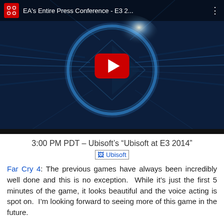[Figure (screenshot): YouTube video thumbnail showing EA's Entire Press Conference - E3 2... with a sci-fi blue glowing ring visual and a red YouTube play button in the center. The video top bar shows a YouTube logo icon and the video title.]
3:00 PM PDT – Ubisoft’s “Ubisoft at E3 2014”
[Figure (logo): Ubisoft logo image placeholder (broken image icon with 'Ubisoft' text link)]
Far Cry 4: The previous games have always been incredibly well done and this is no exception.  While it’s just the first 5 minutes of the game, it looks beautiful and the voice acting is spot on.  I’m looking forward to seeing more of this game in the future.
The Division again: This link in the game title will take you to a fairly impressive trailer from Ubisoft that grabs in much the same way as trailers for games like The Last of Us did.  It sort